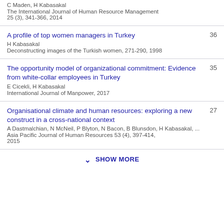C Maden, H Kabasakal
The International Journal of Human Resource Management
25 (3), 341-366, 2014
A profile of top women managers in Turkey
H Kabasakal
Deconstructing images of the Turkish women, 271-290, 1998
36
The opportunity model of organizational commitment: Evidence from white-collar employees in Turkey
E Cicekli, H Kabasakal
International Journal of Manpower, 2017
35
Organisational climate and human resources: exploring a new construct in a cross-national context
A Dastmalchian, N McNeil, P Blyton, N Bacon, B Blunsdon, H Kabasakal, ...
Asia Pacific Journal of Human Resources 53 (4), 397-414, 2015
27
SHOW MORE